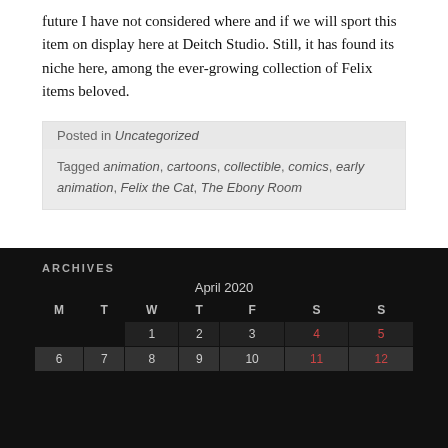future I have not considered where and if we will sport this item on display here at Deitch Studio. Still, it has found its niche here, among the ever-growing collection of Felix items beloved.
Posted in Uncategorized
Tagged animation, cartoons, collectible, comics, early animation, Felix the Cat, The Ebony Room
ARCHIVES
| M | T | W | T | F | S | S |
| --- | --- | --- | --- | --- | --- | --- |
|  |  | 1 | 2 | 3 | 4 | 5 |
| 6 | 7 | 8 | 9 | 10 | 11 | 12 |